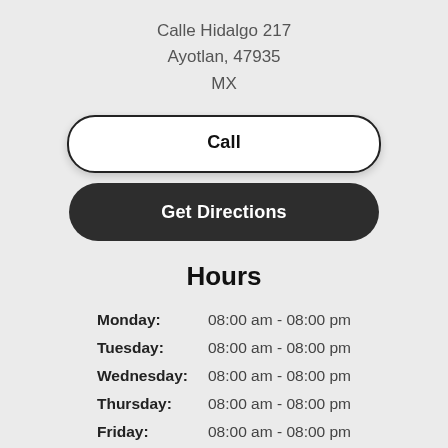Calle Hidalgo 217
Ayotlan, 47935
MX
Call
Get Directions
Hours
| Day | Hours |
| --- | --- |
| Monday: | 08:00 am - 08:00 pm |
| Tuesday: | 08:00 am - 08:00 pm |
| Wednesday: | 08:00 am - 08:00 pm |
| Thursday: | 08:00 am - 08:00 pm |
| Friday: | 08:00 am - 08:00 pm |
| Saturday: | 08:00 am - 08:00 pm |